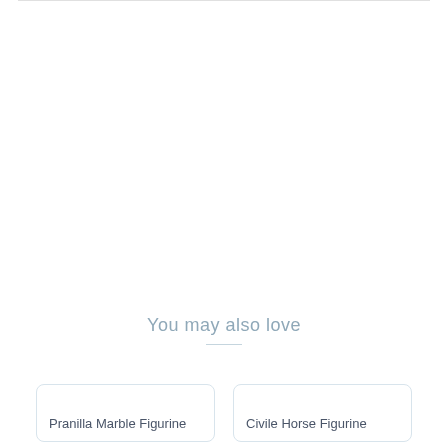You may also love
Pranilla Marble Figurine
Civile Horse Figurine